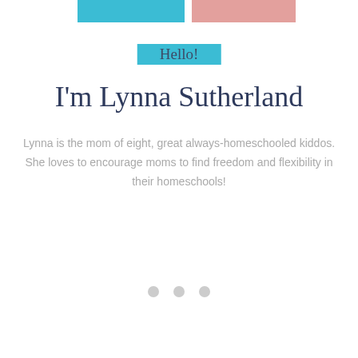[Figure (photo): Partial top banner image with teal and reddish colored blocks visible at top of page]
Hello!
I'm Lynna Sutherland
Lynna is the mom of eight, great always-homeschooled kiddos. She loves to encourage moms to find freedom and flexibility in their homeschools!
[Figure (other): Three small gray circles acting as a carousel/pagination indicator]